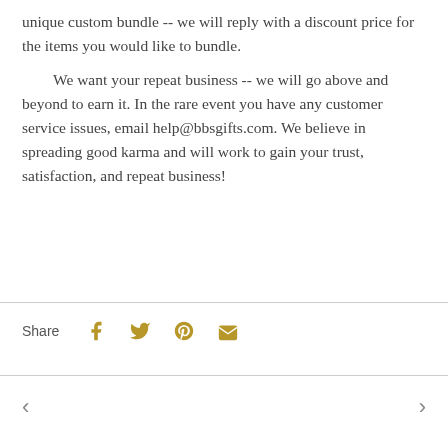unique custom bundle -- we will reply with a discount price for the items you would like to bundle.
We want your repeat business -- we will go above and beyond to earn it. In the rare event you have any customer service issues, email help@bbsgifts.com. We believe in spreading good karma and will work to gain your trust, satisfaction, and repeat business!
[Figure (infographic): Share bar with Facebook, Twitter, Pinterest, and email icons in gold/olive color]
[Figure (infographic): Navigation arrows: left chevron and right chevron for previous/next navigation]